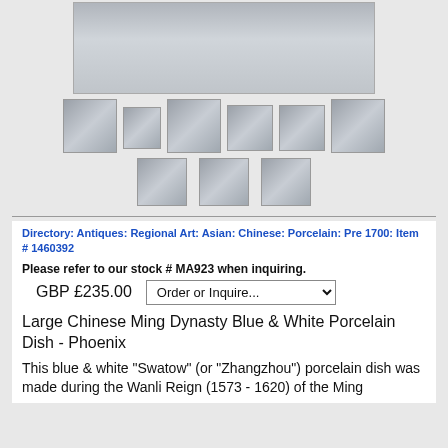[Figure (photo): Main product photo of a blue and white Chinese porcelain dish - Phoenix, top/side view]
[Figure (photo): Row of 6 thumbnail images of the porcelain dish from various angles]
[Figure (photo): Row of 3 additional thumbnail images of the porcelain dish]
Directory: Antiques: Regional Art: Asian: Chinese: Porcelain: Pre 1700: Item # 1460392
Please refer to our stock # MA923 when inquiring.
GBP £235.00
Large Chinese Ming Dynasty Blue & White Porcelain Dish - Phoenix
This blue & white "Swatow" (or "Zhangzhou") porcelain dish was made during the Wanli Reign (1573 - 1620) of the Ming